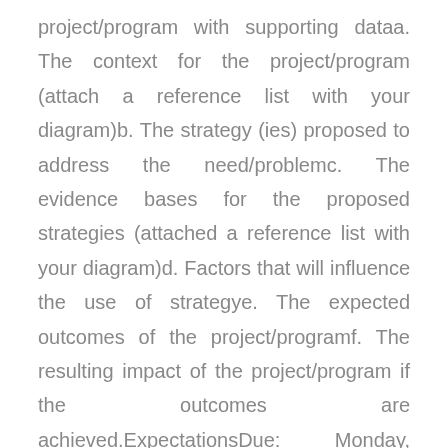project/program with supporting dataa. The context for the project/program (attach a reference list with your diagram)b. The strategy (ies) proposed to address the need/problemc. The evidence bases for the proposed strategies (attached a reference list with your diagram)d. Factors that will influence the use of strategye. The expected outcomes of the project/programf. The resulting impact of the project/program if the outcomes are achieved.ExpectationsDue: Monday, 11:59 pm PTLength: Two pages (1st page for diagram, 2nd page for references)Format: APA Style (7th ed.), one-inch margins with double spacing,      proper APA